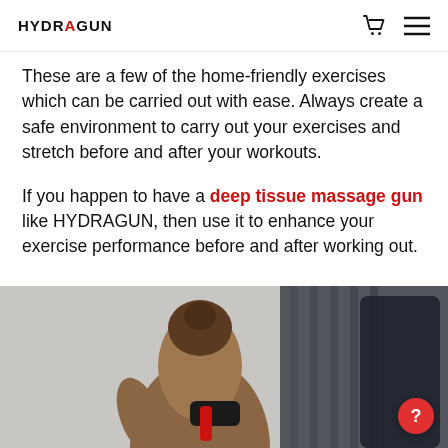HYDRAGUN
These are a few of the home-friendly exercises which can be carried out with ease. Always create a safe environment to carry out your exercises and stretch before and after your workouts.
If you happen to have a deep tissue massage gun like HYDRAGUN, then use it to enhance your exercise performance before and after working out.
[Figure (photo): A person in a gym setting holding a HYDRAGUN massage gun device, shot from behind, with gym equipment visible in the background.]